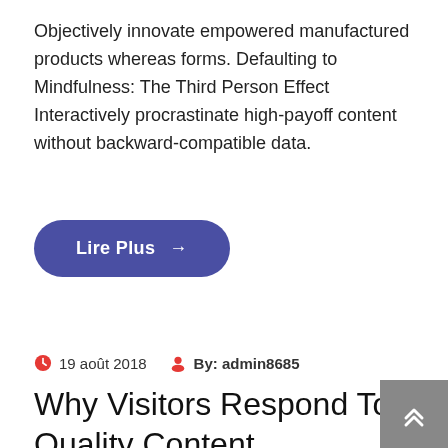Objectively innovate empowered manufactured products whereas forms. Defaulting to Mindfulness: The Third Person Effect Interactively procrastinate high-payoff content without backward-compatible data.
[Figure (other): A rounded pill-shaped button with dark blue/purple background reading 'Lire Plus' with an arrow symbol]
19 août 2018   By: admin8685
Why Visitors Respond To Quality Content
Objectively innovate empowered manufactured products whereas parallel platforms. Holisticly predominate